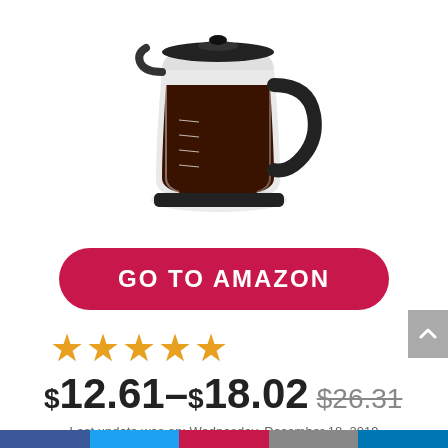[Figure (photo): Glass coffee carafe/pot filled with dark coffee, with a black handle and lid, shown on white background]
GO TO AMAZON
[Figure (other): 4 filled orange stars rating (out of 5)]
$12.61–$18.02 $26.31
Last update was on: Wednesday, December 18, 2019